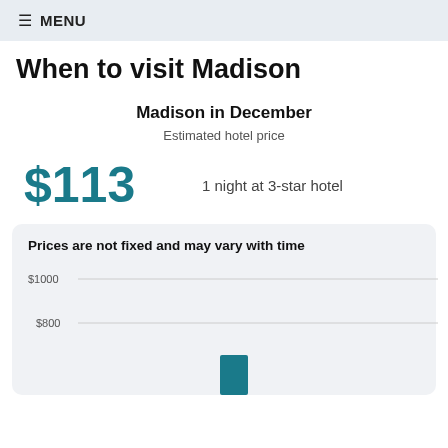≡ MENU
When to visit Madison
Madison in December
Estimated hotel price
$113   1 night at 3-star hotel
Prices are not fixed and may vary with time
[Figure (bar-chart): Hotel price by month in Madison]